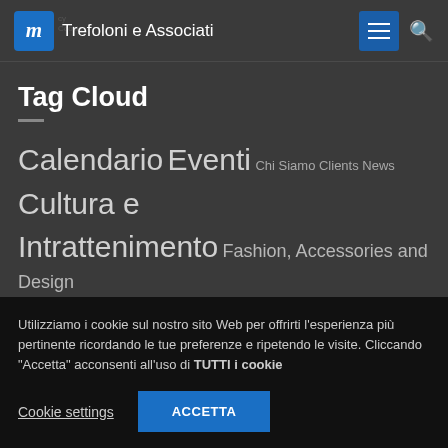Trefoloni e Associati
Tag Cloud
Calendario Eventi Chi Siamo Clients News Cultura e Intrattenimento Fashion, Accessories and Design Food&Beverage Mostre News Press Rassegna Stampa
Utilizziamo i cookie sul nostro sito Web per offrirti l'esperienza più pertinente ricordando le tue preferenze e ripetendo le visite. Cliccando "Accetta" acconsenti all'uso di TUTTI i cookie
Cookie settings ACCETTA